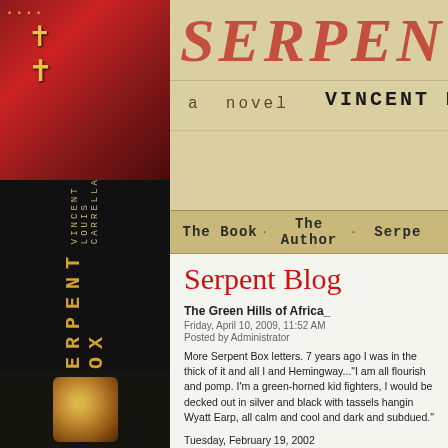[Figure (photo): Book spine of 'Serpent Box' by Vincent Louis Carrella, dark background with red/crimson cover art showing a cross]
SERPENT [novel header banner] a novel  VINCENT LO[uis Carrella]
The Book   The Author   Serpe[nt Box]
Serpent Blog
The Green Hills of Africa
Friday, April 10, 2009, 11:52 AM
Posted by Administrator
More Serpent Box letters. 7 years ago I was in the thick of it and all I and Hemingway..."I am all flourish and pomp. I'm a green-horned kic fighters, I would be decked out in silver and black with tassels hangin Wyatt Earp, all calm and cool and dark and subdued."
Tuesday, February 19, 2002
Higher Grounds Café, San Francisco
Andrew,
I had a good run yesterday. I felt like shit but I managed six hand-writ even in real time. It was all exposition. No dialog. Not real action. I lo love it. We'll see what happens today. I am getting a late start (it's alre am surprised at how prolific I can be off routine.